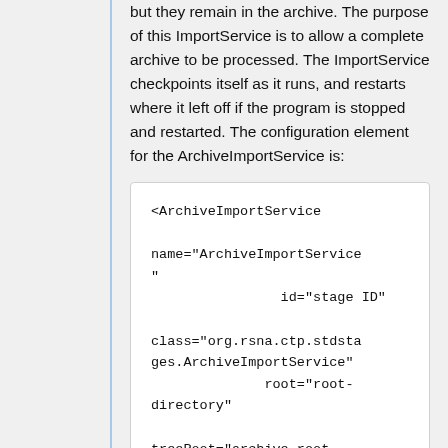but they remain in the archive. The purpose of this ImportService is to allow a complete archive to be processed. The ImportService checkpoints itself as it runs, and restarts where it left off if the program is stopped and restarted. The configuration element for the ArchiveImportService is:
<ArchiveImportService
    name="ArchiveImportService"
                id="stage ID"
    class="org.rsna.ctp.stdstages.ArchiveImportService"
                root="root-directory"

    treeRoot="archive-root-directory"